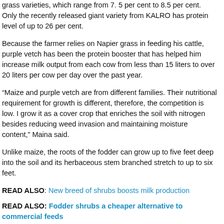grass varieties, which range from 7. 5 per cent to 8.5 per cent.  Only the recently released giant variety from KALRO has protein level of up to 26 per cent.
Because the farmer relies on Napier grass in feeding his cattle, purple vetch has been the protein booster that has helped him increase milk output from each cow from less than 15 liters to over 20 liters per cow per day over the past year.
“Maize and purple vetch are from different families. Their nutritional requirement for growth is different, therefore, the competition is low. I grow it as a cover crop that enriches the soil with nitrogen besides reducing weed invasion and maintaining moisture content,” Maina said.
Unlike maize, the roots of the fodder can grow up to five feet deep into the soil and its herbaceous stem branched stretch to up to six feet.
READ ALSO: New breed of shrubs boosts milk production
READ ALSO: Fodder shrubs a cheaper alternative to commercial feeds